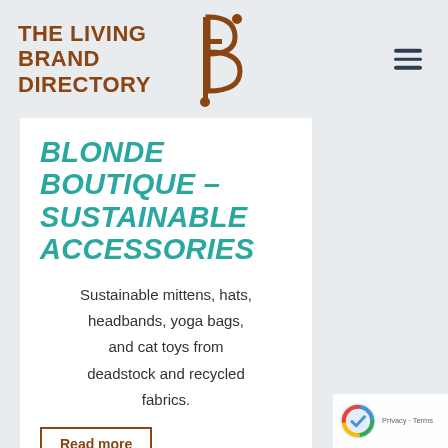THE LIVING BRAND DIRECTORY
BLONDE BOUTIQUE – SUSTAINABLE ACCESSORIES
Sustainable mittens, hats, headbands, yoga bags, and cat toys from deadstock and recycled fabrics.
Read more